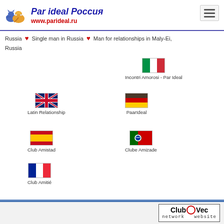Par ideal Россия — www.parideal.ru
Russia ❤ Single man in Russia ❤ Man for relationships in Маlу-Ei, Russia
[Figure (illustration): Italian flag icon above 'Incontri Amorosi - Par Ideal']
[Figure (illustration): UK flag icon above 'Latin Relationship']
[Figure (illustration): German flag icon above 'PaarIdeal']
[Figure (illustration): Spanish flag icon above 'Club Amistad']
[Figure (illustration): Portuguese flag icon above 'Clube Amizade']
[Figure (illustration): French flag icon above 'Club Amitié']
ClubOVec network website